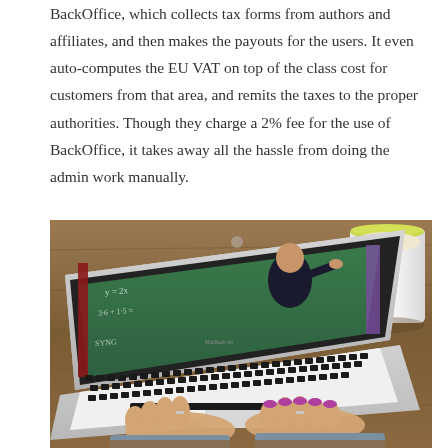BackOffice, which collects tax forms from authors and affiliates, and then makes the payouts for the users. It even auto-computes the EU VAT on top of the class cost for customers from that area, and remits the taxes to the proper authorities. Though they charge a 2% fee for the use of BackOffice, it takes away all the hassle from doing the admin work manually.
[Figure (photo): A person typing on a MacBook Air laptop. The laptop screen shows a teacher writing on a chalkboard in what appears to be an online lecture video. A white coffee cup with a green rim is visible on the right side. The scene is set on a wooden desk surface.]